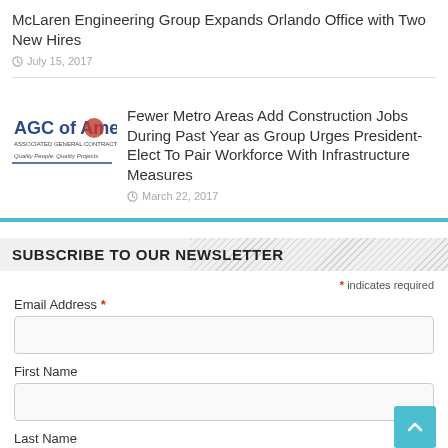McLaren Engineering Group Expands Orlando Office with Two New Hires
July 15, 2017
[Figure (logo): AGC of America logo - Associated General Contractors of America, Quality People. Quality Projects.]
Fewer Metro Areas Add Construction Jobs During Past Year as Group Urges President-Elect To Pair Workforce With Infrastructure Measures
March 22, 2017
SUBSCRIBE TO OUR NEWSLETTER
* indicates required
Email Address *
First Name
Last Name